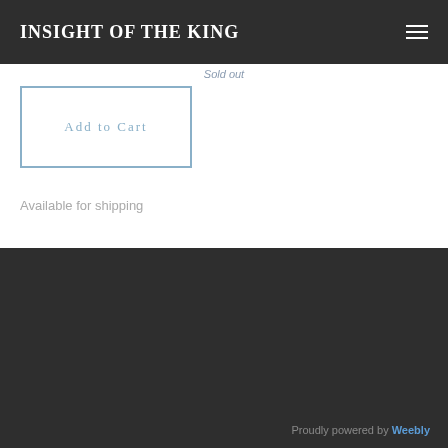INSIGHT OF THE KING
Sold out
Add to Cart
Available for shipping
Proudly powered by Weebly